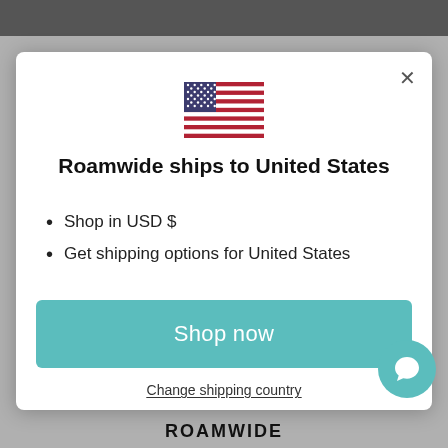[Figure (illustration): US flag SVG illustration inside modal dialog]
Roamwide ships to United States
Shop in USD $
Get shipping options for United States
[Figure (other): Teal 'Shop now' button]
Change shipping country
[Figure (logo): ROAMWIDE logo text at bottom]
[Figure (other): Teal chat bubble circle icon]